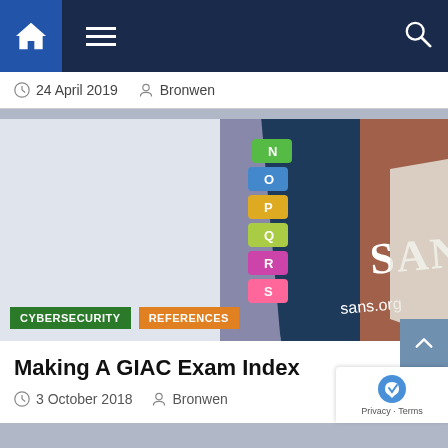Navigation bar with home, menu, and search icons
24 April 2019   Bronwen
[Figure (photo): Close-up photo of SANS Institute study book with colorful alphabetical tab dividers (N, O, P, Q, R, S letters visible) on the side, with SANS logo and sans.org text visible on the dark blue cover]
CYBERSECURITY   REFERENCES
Making A GIAC Exam Index
3 October 2018   Bronwen